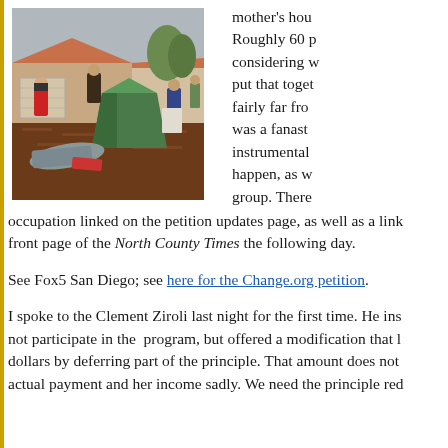[Figure (photo): Outdoor scene showing people setting up tents in the front yard of a suburban house with a terracotta-roofed building in the background. The yard has brown mulch. A green tent is being erected. Several people visible in rainy weather.]
mother's hou Roughly 60 p considering w put that toget fairly far fro was a fantas instrumental happen, as w group. There occupation linked on the petition updates page, as well as a link front page of the North County Times the following day.
See Fox5 San Diego; see here for the Change.org petition.
I spoke to the Clement Ziroli last night for the first time. He ins not participate in the program, but offered a modification that l dollars by deferring part of the principle. That amount does not actual payment and her income sadly. We need the principle red